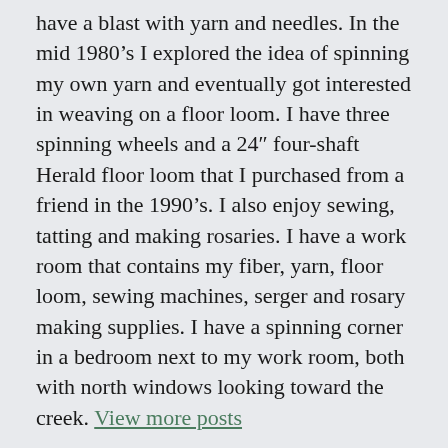have a blast with yarn and needles. In the mid 1980’s I explored the idea of spinning my own yarn and eventually got interested in weaving on a floor loom. I have three spinning wheels and a 24″ four-shaft Herald floor loom that I purchased from a friend in the 1990’s. I also enjoy sewing, tatting and making rosaries. I have a work room that contains my fiber, yarn, floor loom, sewing machines, serger and rosary making supplies. I have a spinning corner in a bedroom next to my work room, both with north windows looking toward the creek. View more posts